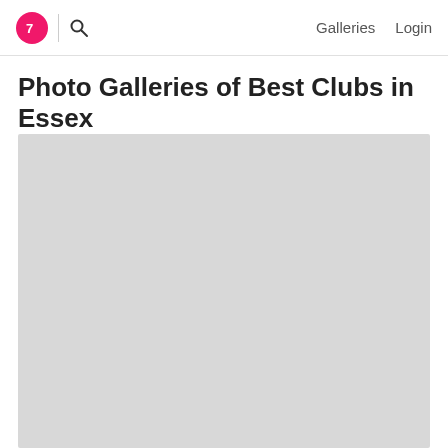Galleries  Login
Photo Galleries of Best Clubs in Essex
[Figure (photo): Large light gray image placeholder area below the page title]